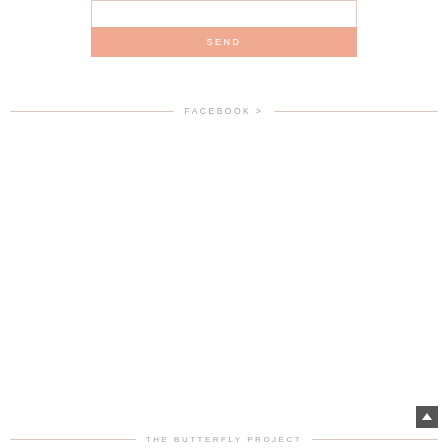[Figure (screenshot): Text input box with dashed resize handle in bottom right corner]
SEND
FACEBOOK >
THE BUTTERFLY PROJECT